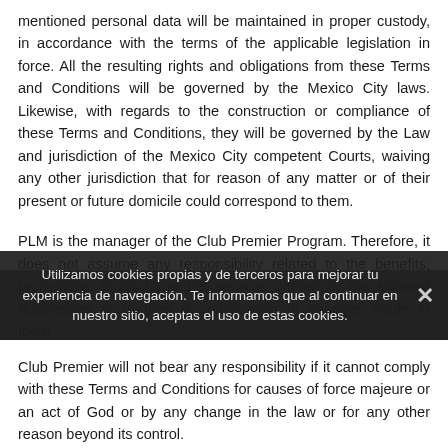mentioned personal data will be maintained in proper custody, in accordance with the terms of the applicable legislation in force. All the resulting rights and obligations from these Terms and Conditions will be governed by the Mexico City laws. Likewise, with regards to the construction or compliance of these Terms and Conditions, they will be governed by the Law and jurisdiction of the Mexico City competent Courts, waiving any other jurisdiction that for reason of any matter or of their present or future domicile could correspond to them.
PLM is the manager of the Club Premier Program. Therefore, it does not assume any responsibility related to the benefits, promotions, products, and/or services offered by the Affiliated Businesses or to their discontinuation or changes made to them.
Utilizamos cookies propias y de terceros para mejorar tu experiencia de navegación. Te informamos que al continuar en nuestro sitio, aceptas el uso de estas cookies.
Club Premier will not bear any responsibility if it cannot comply with these Terms and Conditions for causes of force majeure or an act of God or by any change in the law or for any other reason beyond its control.